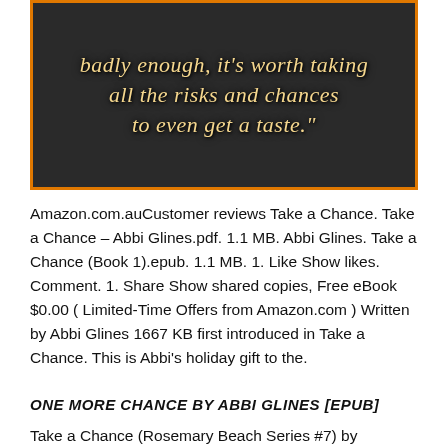[Figure (illustration): Dark background image with orange border containing a golden italic script quote: 'badly enough, it's worth taking all the risks and chances to even get a taste."']
Amazon.com.auCustomer reviews Take a Chance. Take a Chance – Abbi Glines.pdf. 1.1 MB. Abbi Glines. Take a Chance (Book 1).epub. 1.1 MB. 1. Like Show likes. Comment. 1. Share Show shared copies, Free eBook $0.00 ( Limited-Time Offers from Amazon.com ) Written by Abbi Glines 1667 KB first introduced in Take a Chance. This is Abbi's holiday gift to the.
ONE MORE CHANCE BY ABBI GLINES [EPUB]
Take a Chance (Rosemary Beach Series #7) by